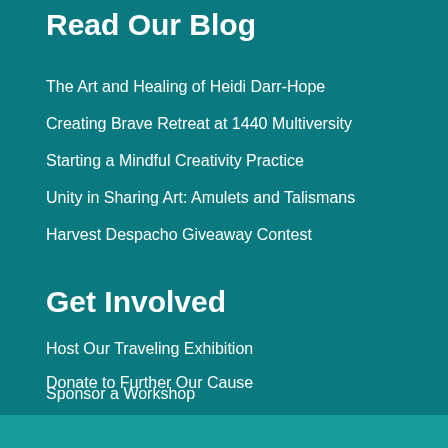Read Our Blog
The Art and Healing of Heidi Darr-Hope
Creating Brave Retreat at 1440 Multiversity
Starting a Mindful Creativity Practice
Unity in Sharing Art: Amulets and Talismans
Harvest Despacho Giveaway Contest
Get Involved
Host Our Traveling Exhibition
Donate to Further Our Cause
Sponsor a Workshop